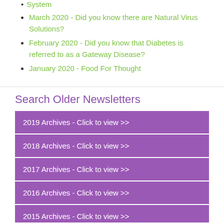System
March 2020 - Did you know there are Natural Virus Solutions?
February 2020 - Did you know that Diabetes is referred to as a Gateway Disease?
January 2020 - Food For Thought
Search Older Newsletters
2019 Archives - Click to view >>
2018 Archives - Click to view >>
2017 Archives - Click to view >>
2016 Archives - Click to view >>
2015 Archives - Click to view >>